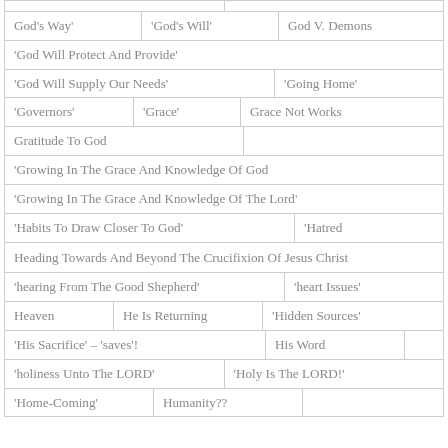God's Way'
'God's Will'
God V. Demons
'God Will Protect And Provide'
'God Will Supply Our Needs'
'Going Home'
'Governors'
'Grace'
Grace Not Works
Gratitude To God
'Growing In The Grace And Knowledge Of God
'Growing In The Grace And Knowledge Of The Lord'
'Habits To Draw Closer To God'
'Hatred
Heading Towards And Beyond The Crucifixion Of Jesus Christ
'hearing From The Good Shepherd'
'heart Issues'
Heaven
He Is Returning
'Hidden Sources'
'His Sacrifice' – 'saves'!
His Word
'holiness Unto The LORD'
'Holy Is The LORD!'
'Home-Coming'
Humanity??